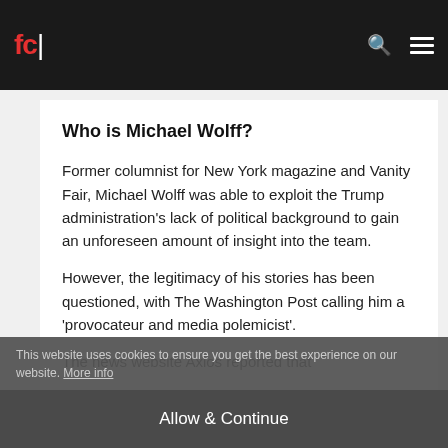fc| [navigation bar with logo, search icon, menu icon]
Who is Michael Wolff?
Former columnist for New York magazine and Vanity Fair, Michael Wolff was able to exploit the Trump administration's lack of political background to gain an unforeseen amount of insight into the team.
However, the legitimacy of his stories has been questioned, with The Washington Post calling him a 'provocateur and media polemicist'.
This website uses cookies to ensure you get the best experience on our website. More info
Wolff recorded the interviews held for the book, featuring former White House Chief Strategist Stephen Bannon and form...